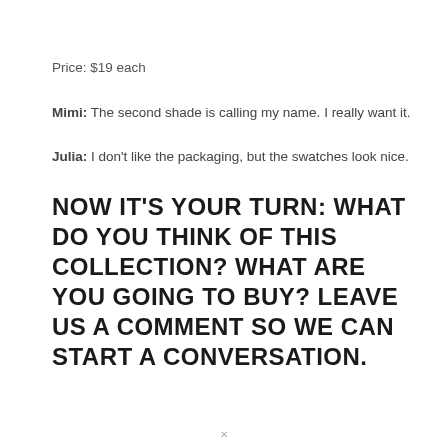Price: $19 each
Mimi: The second shade is calling my name. I really want it.
Julia: I don't like the packaging, but the swatches look nice.
NOW IT'S YOUR TURN: WHAT DO YOU THINK OF THIS COLLECTION? WHAT ARE YOU GOING TO BUY? LEAVE US A COMMENT SO WE CAN START A CONVERSATION.